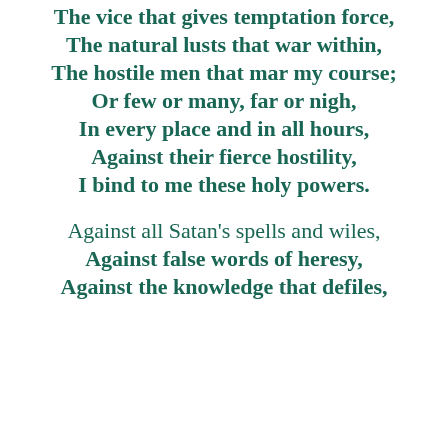The vice that gives temptation force,
The natural lusts that war within,
The hostile men that mar my course;
Or few or many, far or nigh,
In every place and in all hours,
Against their fierce hostility,
I bind to me these holy powers.
Against all Satan's spells and wiles,
Against false words of heresy,
Against the knowledge that defiles,